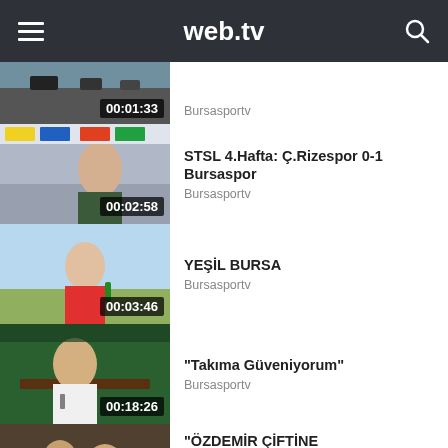web.tv
[Figure (screenshot): Video thumbnail with duration 00:01:33, partial row at top]
Bursasportv
[Figure (screenshot): Video thumbnail with duration 00:02:58]
STSL 4.Hafta: Ç.Rizespor 0-1 Bursaspor
Bursasportv
[Figure (screenshot): Video thumbnail with duration 00:03:46]
YEŞİL BURSA
Bursasportv
[Figure (screenshot): Video thumbnail with duration 00:18:26]
"Takıma Güveniyorum"
Bursasportv
[Figure (screenshot): Video thumbnail with duration 00:00:21 (partial)]
"ÖZDEMİR ÇİFTİNE MUTLULUKLAR"
Bursasportv